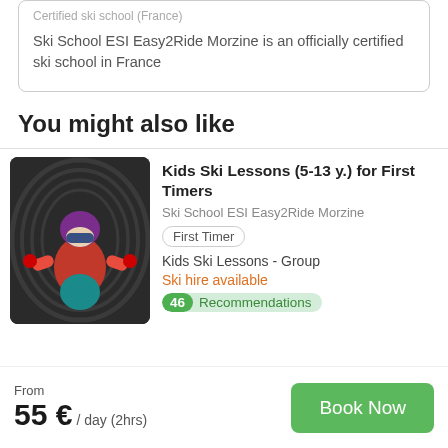Certified ski school (France)
Ski School ESI Easy2Ride Morzine is an officially certified ski school in France
You might also like
[Figure (photo): Photo of a child in ski gear inside a snow tunnel, wearing colorful helmet and goggles]
Kids Ski Lessons (5-13 y.) for First Timers
Ski School ESI Easy2Ride Morzine
First Timer
Kids Ski Lessons - Group
Ski hire available
46 Recommendations
From
55 € / day (2hrs)
Book Now